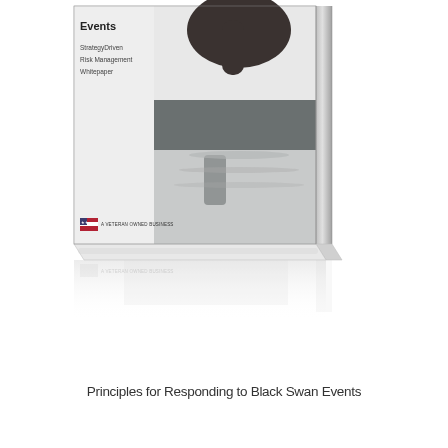[Figure (photo): A 3D book cover mockup showing a whitepaper titled with 'Events' visible at top, subtitled 'StrategyDriven Risk Management Whitepaper', featuring a dark swan swimming on water. The cover includes a veteran-owned business logo at the bottom left. The book is shown with a spine on the right side and a reflection below it on a white surface.]
Principles for Responding to Black Swan Events